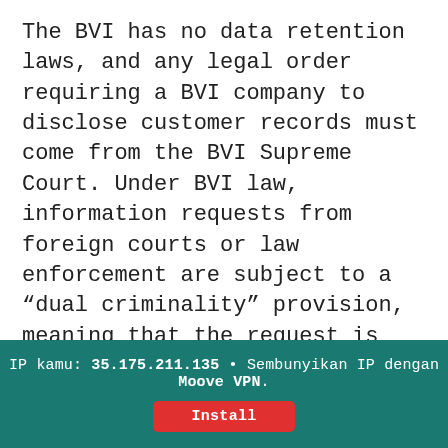The BVI has no data retention laws, and any legal order requiring a BVI company to disclose customer records must come from the BVI Supreme Court. Under BVI law, information requests from foreign courts or law enforcement are subject to a “dual criminality” provision, meaning that the request is upheld by the BVI Supreme Court only if the same crime is punishable by at least a one-year prison sentence under BVI law, had it taken place in the BVI. Should we receive a valid legal order from the BVI Supreme Court, it is important to note that Moove
IP kamu: 35.175.211.135 • Sembunyikan IP dengan Moove VPN. Install